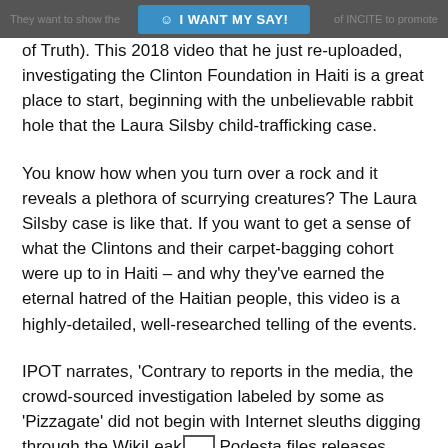I WANT MY SAY!
of Truth). This 2018 video that he just re-uploaded, investigating the Clinton Foundation in Haiti is a great place to start, beginning with the unbelievable rabbit hole that the Laura Silsby child-trafficking case.
You know how when you turn over a rock and it reveals a plethora of scurrying creatures? The Laura Silsby case is like that. If you want to get a sense of what the Clintons and their carpet-bagging cohort were up to in Haiti – and why they've earned the eternal hatred of the Haitian people, this video is a highly-detailed, well-researched telling of the events.
IPOT narrates, 'Contrary to reports in the media, the crowd-sourced investigation labeled by some as 'Pizzagate' did not begin with Internet sleuths digging through the WikiLeaks Podesta files releases, looking for pizza parlors and encoded